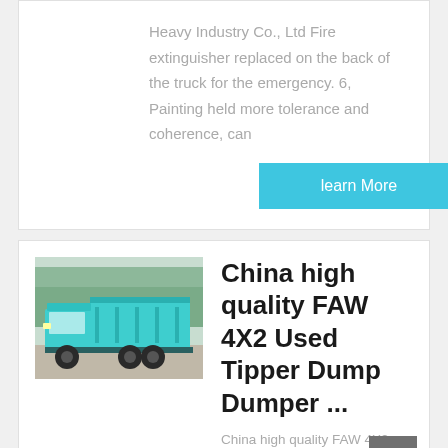Heavy Industry Co., Ltd Fire extinguisher replaced on the back of the truck for the emergency. 6, Painting held more tolerance and coherence, can
learn More
[Figure (photo): A teal/green dump truck (tipper) photographed outdoors with trees in the background]
China high quality FAW 4X2 Used Tipper Dump Dumper ...
China high quality FAW 4X2 Used Tipper Dump Dumper Truck, Find